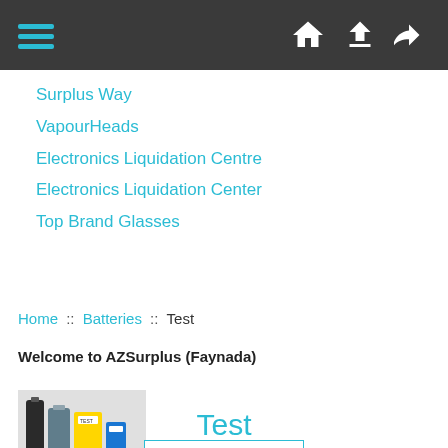Navigation bar with hamburger menu, home, upload, and login icons
Surplus Way
VapourHeads
Electronics Liquidation Centre
Electronics Liquidation Center
Top Brand Glasses
Home :: Batteries :: Test
Welcome to AZSurplus (Faynada)
[Figure (photo): Photo of assorted batteries and battery-related products]
Batteries
Test